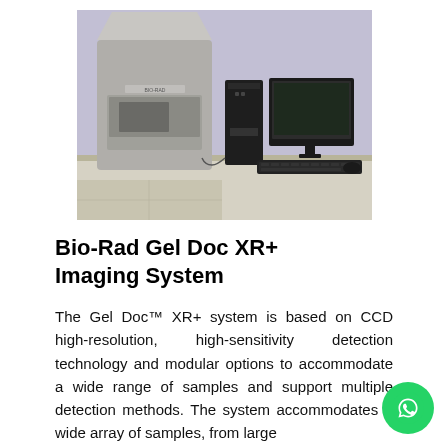[Figure (photo): Photo of a Bio-Rad Gel Doc XR+ Imaging System on a lab bench, with a computer monitor and keyboard beside it, against a light purple wall.]
Bio-Rad Gel Doc XR+ Imaging System
The Gel Doc™ XR+ system is based on CCD high-resolution, high-sensitivity detection technology and modular options to accommodate a wide range of samples and support multiple detection methods. The system accommodates a wide array of samples, from large